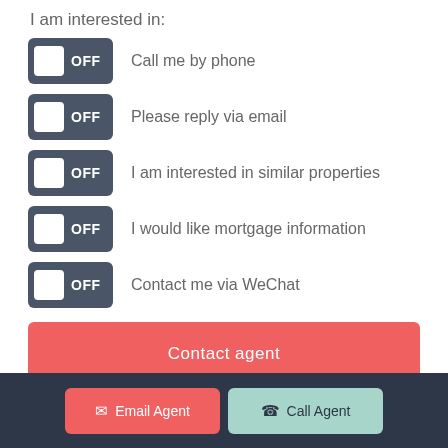I am interested in:
OFF  Call me by phone
OFF  Please reply via email
OFF  I am interested in similar properties
OFF  I would like mortgage information
OFF  Contact me via WeChat
Contact agent
Email Agent  Call Agent